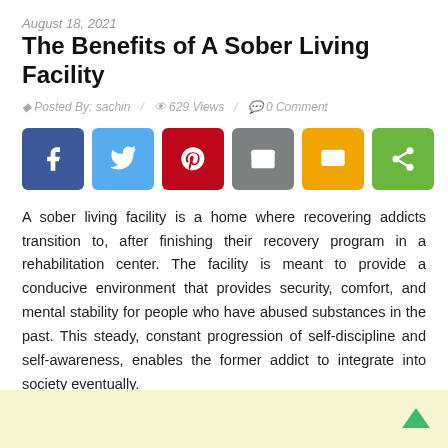August 18, 2021
The Benefits of A Sober Living Facility
Posted By: sachin  /  629 Views  /  0 Comment
[Figure (infographic): Social sharing buttons: Facebook (blue), Twitter (light blue), Pinterest (red), Email (gray), SMS (yellow/gold), Share (green)]
A sober living facility is a home where recovering addicts transition to, after finishing their recovery program in a rehabilitation center. The facility is meant to provide a conducive environment that provides security, comfort, and mental stability for people who have abused substances in the past. This steady, constant progression of self-discipline and self-awareness, enables the former addict to integrate into society eventually.